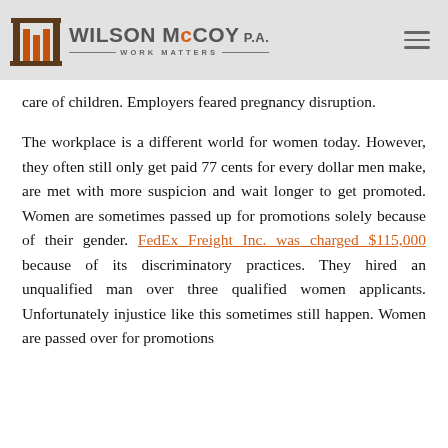Wilson McCoy P.A. — Work Matters
care of children. Employers feared pregnancy disruption.
The workplace is a different world for women today. However, they often still only get paid 77 cents for every dollar men make, are met with more suspicion and wait longer to get promoted. Women are sometimes passed up for promotions solely because of their gender. FedEx Freight Inc. was charged $115,000 because of its discriminatory practices. They hired an unqualified man over three qualified women applicants. Unfortunately injustice like this sometimes still happen. Women are passed over for promotions